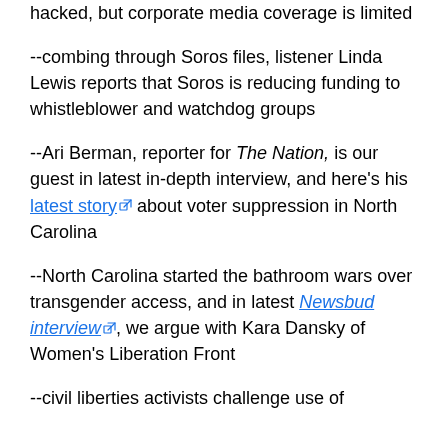hacked, but corporate media coverage is limited
--combing through Soros files, listener Linda Lewis reports that Soros is reducing funding to whistleblower and watchdog groups
--Ari Berman, reporter for The Nation, is our guest in latest in-depth interview, and here's his latest story about voter suppression in North Carolina
--North Carolina started the bathroom wars over transgender access, and in latest Newsbud interview, we argue with Kara Dansky of Women's Liberation Front
--civil liberties activists challenge use of